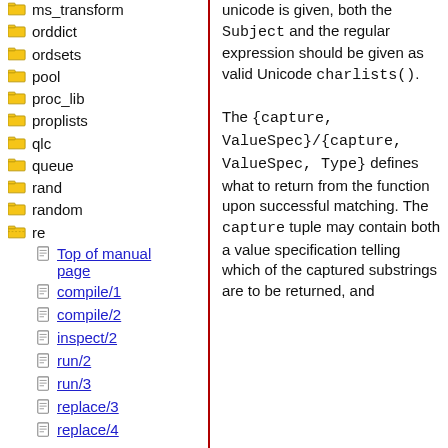ms_transform
orddict
ordsets
pool
proc_lib
proplists
qlc
queue
rand
random
re
Top of manual page
compile/1
compile/2
inspect/2
run/2
run/3
replace/3
replace/4
unicode is given, both the Subject and the regular expression should be given as valid Unicode charlists(). The {capture, ValueSpec}/{capture, ValueSpec, Type} defines what to return from the function upon successful matching. The capture tuple may contain both a value specification telling which of the captured substrings are to be returned, and